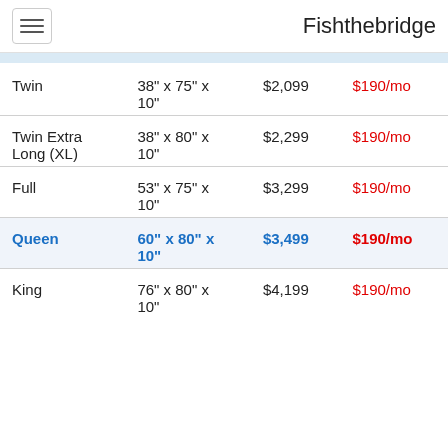Fishthebridge
| Twin | 38" x 75" x 10" | $2,099 | $190/mo |
| Twin Extra Long (XL) | 38" x 80" x 10" | $2,299 | $190/mo |
| Full | 53" x 75" x 10" | $3,299 | $190/mo |
| Queen | 60" x 80" x 10" | $3,499 | $190/mo |
| King | 76" x 80" x 10" | $4,199 | $190/mo |